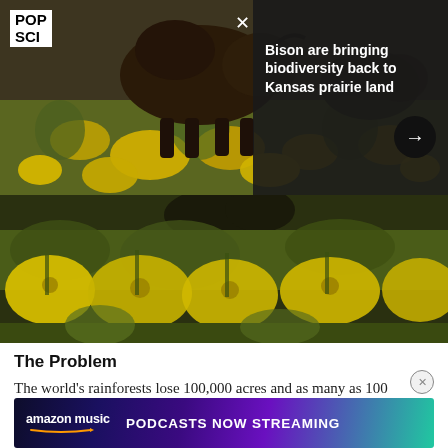[Figure (photo): Photograph of a bison standing among yellow wildflowers in a Kansas prairie landscape, with a green and gold meadow background]
Bison are bringing biodiversity back to Kansas prairie land
[Figure (photo): Close-up photograph of yellow wildflowers (likely goldenrod) in a prairie field, with blurred background of green and yellow vegetation and a dark animal figure]
The Problem
The world's rainforests lose 100,000 acres and as many as 100 species every day. The Amazon alone loses 1 for timber g.
[Figure (screenshot): Amazon Music advertisement banner: 'amazon music PODCASTS NOW STREAMING' with gradient background from dark blue to teal/green]